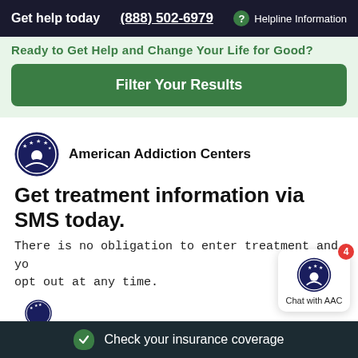Get help today  (888) 502-6979  ? Helpline Information
Ready to Get Help and Change Your Life for Good?
Filter Your Results
[Figure (logo): American Addiction Centers circular logo with stars and figure]
American Addiction Centers
Get treatment information via SMS today.
There is no obligation to enter treatment and you can opt out at any time.
[Figure (logo): American Addiction Centers partial circular logo (bottom of page)]
[Figure (screenshot): Chat with AAC widget showing badge count of 4]
Check your insurance coverage